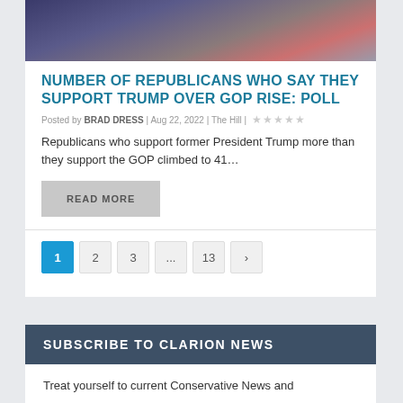[Figure (photo): Photo of a person in a dark suit with a pink/coral shirt, partially visible with an American flag in the background]
NUMBER OF REPUBLICANS WHO SAY THEY SUPPORT TRUMP OVER GOP RISE: POLL
Posted by BRAD DRESS | Aug 22, 2022 | The Hill | ★★★★★
Republicans who support former President Trump more than they support the GOP climbed to 41…
READ MORE
1 2 3 ... 13 >
SUBSCRIBE TO CLARION NEWS
Treat yourself to current Conservative News and